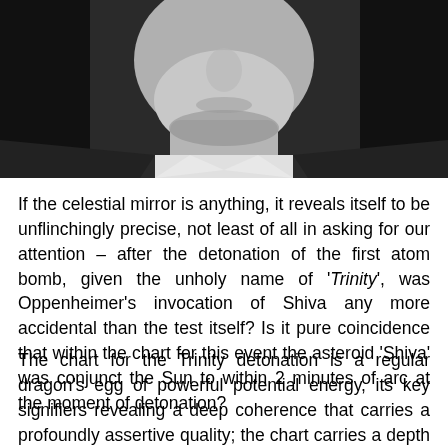[Figure (photo): Black and white close-up photograph of a man's face/neck area, cropped to show chin, neck, and lower face against a dark background.]
If the celestial mirror is anything, it reveals itself to be unflinchingly precise, not least of all in asking for our attention – after the detonation of the first atom bomb, given the unholy name of 'Trinity', was Oppenheimer's invocation of Shiva any more accidental than the test itself? Is it pure coincidence that within the chart for this event the asteroid 'Shiva' was conjunct the Sun to within 2 minutes of arc at the moment of detonation?
The chart for the Trinity detonation is a regular dragon's egg of powerful potential energy, its key signifiers revealing a deep coherence that carries a profoundly assertive quality; the chart carries a depth charge of meaning and portent that mirrors the moment in which the cosmic egg was rent asunder. This is a